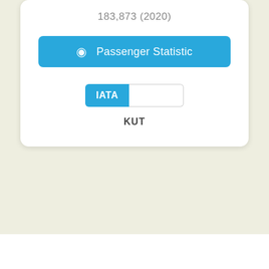183,873 (2020)
Passenger Statistic
IATA
KUT